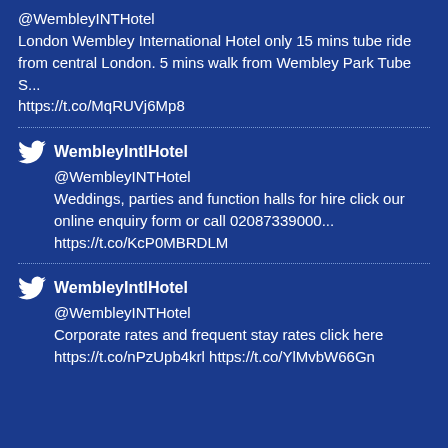@WembleyINTHotel
London Wembley International Hotel only 15 mins tube ride from central London. 5 mins walk from Wembley Park Tube S... https://t.co/MqRUVj6Mp8
WembleyIntlHotel
@WembleyINTHotel
Weddings, parties and function halls for hire click our online enquiry form or call 02087339000... https://t.co/KcP0MBRDLM
WembleyIntlHotel
@WembleyINTHotel
Corporate rates and frequent stay rates click here https://t.co/nPzUpb4krl https://t.co/YlMvbW66Gn